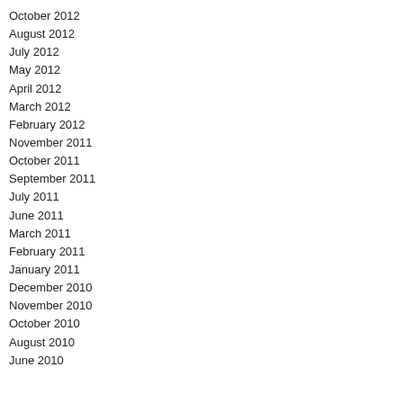October 2012
August 2012
July 2012
May 2012
April 2012
March 2012
February 2012
November 2011
October 2011
September 2011
July 2011
June 2011
March 2011
February 2011
January 2011
December 2010
November 2010
October 2010
August 2010
June 2010